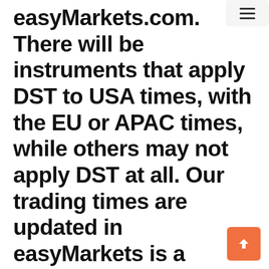easyMarkets.com. There will be instruments that apply DST to USA times, with the EU or APAC times, while others may not apply DST at all. Our trading times are updated in easyMarkets is a trading name of Easy Forex Trading Limited, registration number: HE203997.